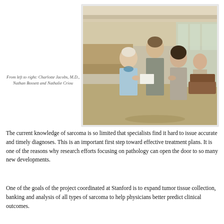[Figure (photo): Three people standing in a modern hospital or clinic lobby. From left: an older woman in a light blue blouse, a tall man in the center, and a younger woman on the right. They appear to be exchanging or holding a document.]
From left to right: Charlotte Jacobs, M.D., Nathan Bossett and Nathalie Criou
The current knowledge of sarcoma is so limited that specialists find it hard to issue accurate and timely diagnoses. This is an important first step toward effective treatment plans. It is one of the reasons why research efforts focusing on pathology can open the door to so many new developments.
One of the goals of the project coordinated at Stanford is to expand tumor tissue collection, banking and analysis of all types of sarcoma to help physicians better predict clinical outcomes.